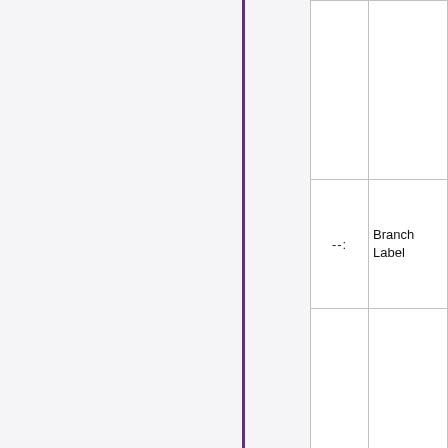|  | --: | Branch Label |
| --- | --- | --- |
|  |  |  |
|  | --: | Branch
Label |
|  |  |  |